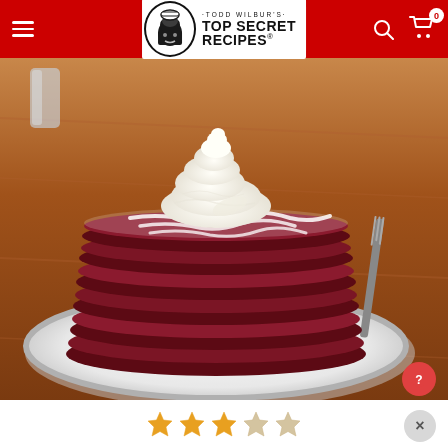Todd Wilbur's Top Secret Recipes
[Figure (photo): Stack of red velvet pancakes topped with whipped cream and cream cheese drizzle on a white plate, on a wooden table, with a fork visible on the right side.]
[Figure (other): Star rating widget showing 3 out of 5 stars highlighted in gold/orange]